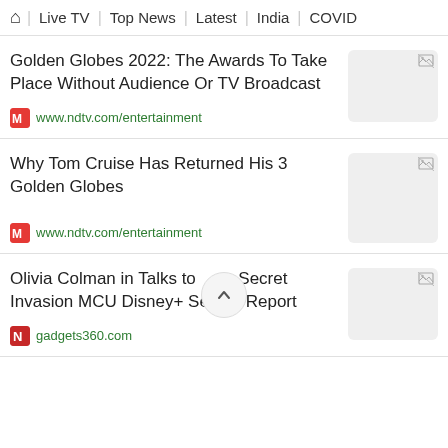🏠 | Live TV | Top News | Latest | India | COVID
Golden Globes 2022: The Awards To Take Place Without Audience Or TV Broadcast
www.ndtv.com/entertainment
Why Tom Cruise Has Returned His 3 Golden Globes
www.ndtv.com/entertainment
Olivia Colman in Talks to Join Secret Invasion MCU Disney+ Series: Report
gadgets360.com